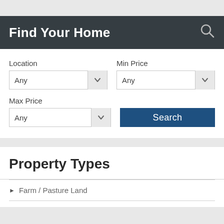Find Your Home
Location
Min Price
Max Price
Property Types
Farm / Pasture Land